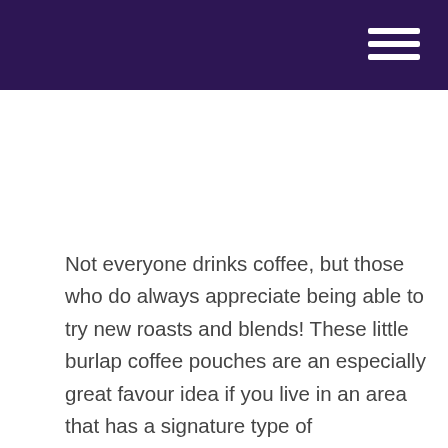Not everyone drinks coffee, but those who do always appreciate being able to try new roasts and blends! These little burlap coffee pouches are an especially great favour idea if you live in an area that has a signature type of